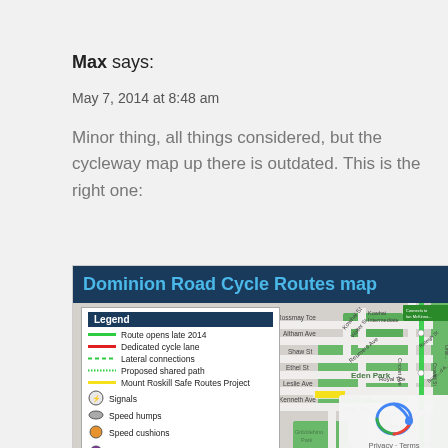Max says:
May 7, 2014 at 8:48 am
Minor thing, all things considered, but the cycleway map up there is outdated. This is the right one:
[Figure (map): Dominion Road Cycle Routes map showing a street map with a legend indicating: Route opens late 2014 (green solid line), Dedicated cycle lane (red solid line), Lateral connections (green dashed line), Proposed shared path (green dotted line), Mount Roskill Safe Routes Project (yellow solid line), Signals, Speed humps, Speed cushions, Speed tables. Map shows Eden Park area with streets including Rossmay Tce, Altham Ave, Shaw St, Ethel St, Leslie Ave, Kenneth Ave, Kowhai St, Walter St, Reumers Ave, Royal Tce, Burnley Tce, Ward Tce, Gribblehirst Park, Cricket Ave. Green cycle route visible along the eastern side.]